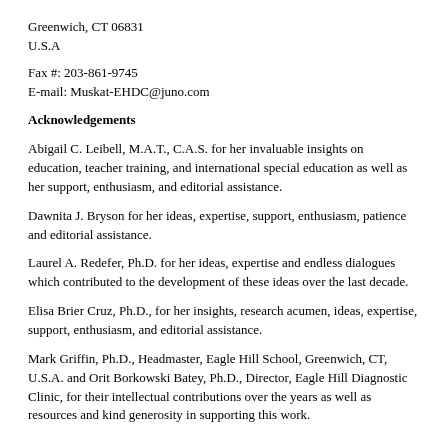Greenwich, CT 06831
U.S.A
Fax #: 203-861-9745
E-mail: Muskat-EHDC@juno.com
Acknowledgements
Abigail C. Leibell, M.A.T., C.A.S. for her invaluable insights on education, teacher training, and international special education as well as her support, enthusiasm, and editorial assistance.
Dawnita J. Bryson for her ideas, expertise, support, enthusiasm, patience and editorial assistance.
Laurel A. Redefer, Ph.D. for her ideas, expertise and endless dialogues which contributed to the development of these ideas over the last decade.
Elisa Brier Cruz, Ph.D., for her insights, research acumen, ideas, expertise, support, enthusiasm, and editorial assistance.
Mark Griffin, Ph.D., Headmaster, Eagle Hill School, Greenwich, CT, U.S.A. and Orit Borkowski Batey, Ph.D., Director, Eagle Hill Diagnostic Clinic, for their intellectual contributions over the years as well as resources and kind generosity in supporting this work.